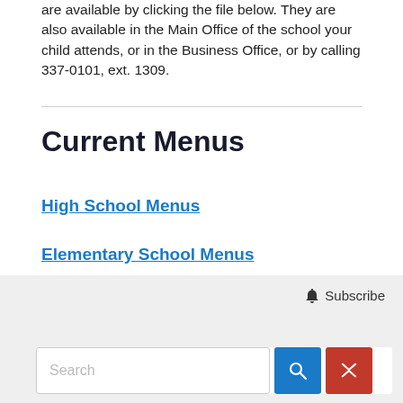are available by clicking the file below. They are also available in the Main Office of the school your child attends, or in the Business Office, or by calling 337-0101, ext. 1309.
Current Menus
High School Menus
Elementary School Menus
Subscribe  Search